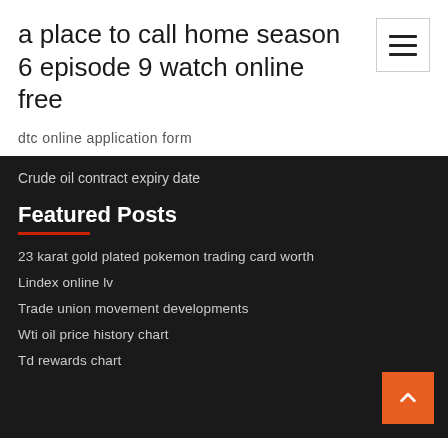a place to call home season 6 episode 9 watch online free
dtc online application form
Crude oil contract expiry date
Featured Posts
23 karat gold plated pokemon trading card worth
Lindex online lv
Trade union movement developments
Wti oil price history chart
Td rewards chart